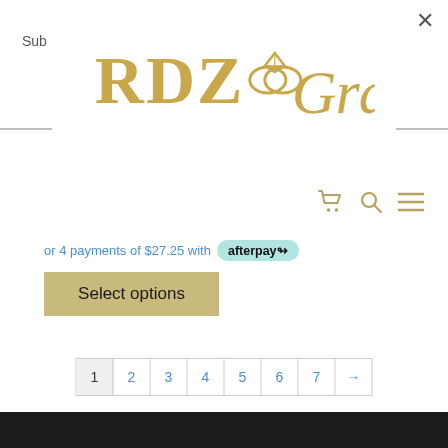Sub
[Figure (logo): RDZGray jewelry brand logo in gold script and serif letters with a diamond ring icon]
or 4 payments of $27.25 with afterpay
Select options
1 2 3 4 5 6 7 →